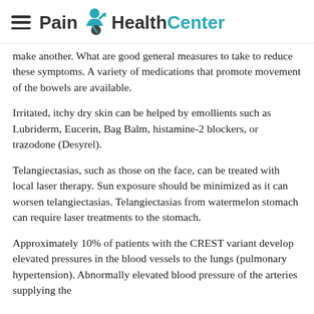Pain HealthCenter
...make another. What are good general measures to take to reduce these symptoms. A variety of medications that promote movement of the bowels are available.
Irritated, itchy dry skin can be helped by emollients such as Lubriderm, Eucerin, Bag Balm, histamine-2 blockers, or trazodone (Desyrel).
Telangiectasias, such as those on the face, can be treated with local laser therapy. Sun exposure should be minimized as it can worsen telangiectasias. Telangiectasias from watermelon stomach can require laser treatments to the stomach.
Approximately 10% of patients with the CREST variant develop elevated pressures in the blood vessels to the lungs (pulmonary hypertension). Abnormally elevated blood pressure of the arteries supplying the...